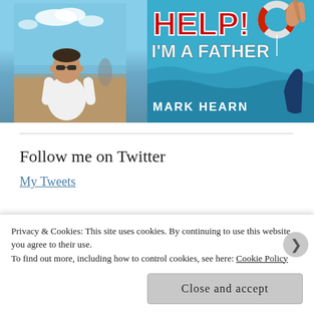[Figure (photo): Left: Photo of a man in white polo shirt wearing sunglasses, standing outdoors near a beach/waterfront with a sculpture visible in the background, blue sky with clouds. Right: Book cover for 'HELP! I'M A FATHER' by Mark Hearn, showing bold red 'HELP!' text, white subtitle text, with hands reaching out of water and a life preserver ring against a teal ocean background.]
Follow me on Twitter
My Tweets
Privacy & Cookies: This site uses cookies. By continuing to use this website, you agree to their use.
To find out more, including how to control cookies, see here: Cookie Policy
Close and accept